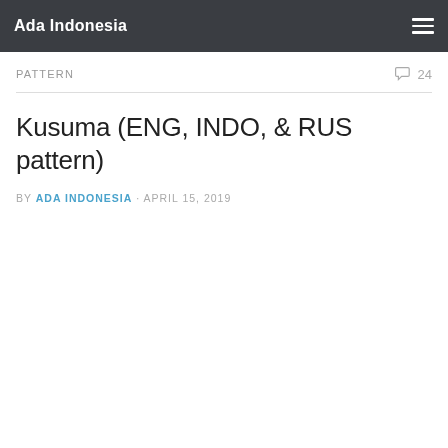Ada Indonesia
PATTERN
Kusuma (ENG, INDO, & RUS pattern)
BY ADA INDONESIA · APRIL 15, 2019